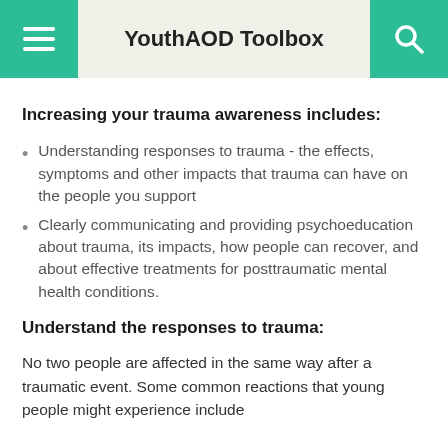YouthAOD Toolbox
Increasing your trauma awareness includes:
Understanding responses to trauma - the effects, symptoms and other impacts that trauma can have on the people you support
Clearly communicating and providing psychoeducation about trauma, its impacts, how people can recover, and about effective treatments for posttraumatic mental health conditions.
Understand the responses to trauma:
No two people are affected in the same way after a traumatic event. Some common reactions that young people might experience include...